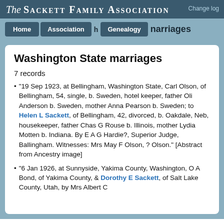The Sackett Family Association | Change log
Home | Association | h | Genealogy | marriages
Washington State marriages
7 records
"19 Sep 1923, at Bellingham, Washington State, Carl Olson, of Bellingham, 54, single, b. Sweden, hotel keeper, father Oli Anderson b. Sweden, mother Anna Pearson b. Sweden; to Helen L Sackett, of Bellingham, 42, divorced, b. Oakdale, Neb, housekeeper, father Chas G Rouse b. Illinois, mother Lydia Motten b. Indiana. By E A G Hardie?, Superior Judge, Ballingham. Witnesses: Mrs May F Olson, ? Olson." [Abstract from Ancestry image]
"6 Jan 1926, at Sunnyside, Yakima County, Washington, O A Bond, of Yakima County, & Dorothy E Sackett, of Salt Lake County, Utah, by Mrs Albert C